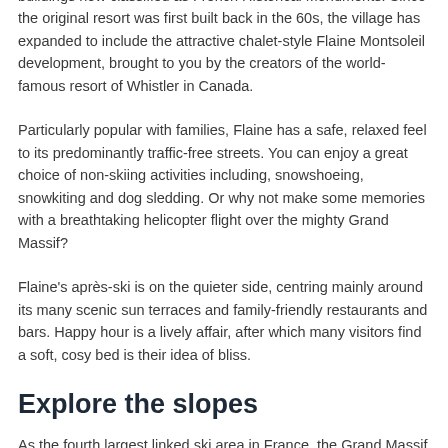buildings now classified as French Historical Monuments. Since the original resort was first built back in the 60s, the village has expanded to include the attractive chalet-style Flaine Montsoleil development, brought to you by the creators of the world-famous resort of Whistler in Canada.
Particularly popular with families, Flaine has a safe, relaxed feel to its predominantly traffic-free streets. You can enjoy a great choice of non-skiing activities including, snowshoeing, snowkiting and dog sledding. Or why not make some memories with a breathtaking helicopter flight over the mighty Grand Massif?
Flaine's après-ski is on the quieter side, centring mainly around its many scenic sun terraces and family-friendly restaurants and bars. Happy hour is a lively affair, after which many visitors find a soft, cosy bed is their idea of bliss.
Explore the slopes
As the fourth largest linked ski area in France, the Grand Massif offers an enormous choice of skiing and snowboarding for all levels. And while the highest point is a relatively modest 2,500m, with 80 percent of slopes facing